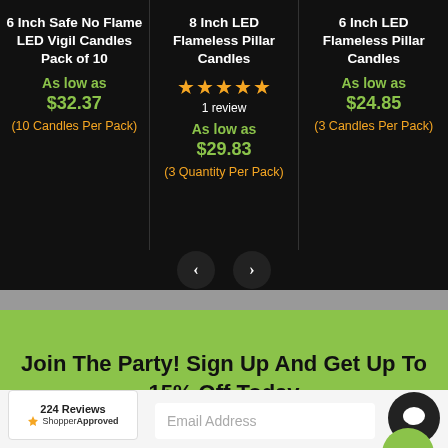6 Inch Safe No Flame LED Vigil Candles Pack of 10
As low as
$32.37
(10 Candles Per Pack)
8 Inch LED Flameless Pillar Candles
★★★★★
1 review
As low as
$29.83
(3 Quantity Per Pack)
6 Inch LED Flameless Pillar Candles
As low as
$24.85
(3 Candles Per Pack)
Join The Party! Sign Up And Get Up To 15% Off Today
224 Reviews
[Figure (logo): ShopperApproved badge with star rating and 224 Reviews]
Email Address